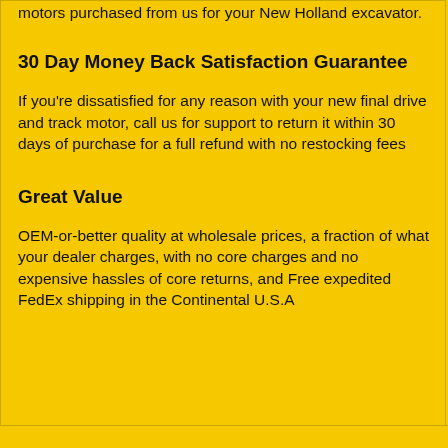motors purchased from us for your New Holland excavator.
30 Day Money Back Satisfaction Guarantee
If you're dissatisfied for any reason with your new final drive and track motor, call us for support to return it within 30 days of purchase for a full refund with no restocking fees
Great Value
OEM-or-better quality at wholesale prices, a fraction of what your dealer charges, with no core charges and no expensive hassles of core returns, and Free expedited FedEx shipping in the Continental U.S.A